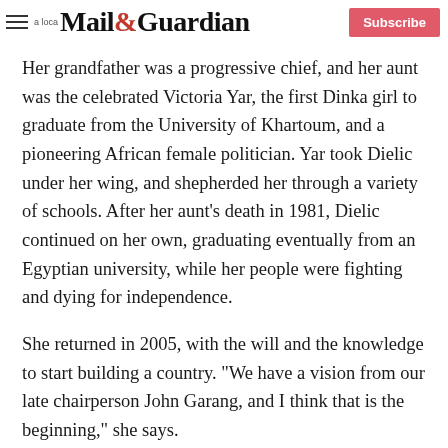Mail & Guardian — Subscribe
Her grandfather was a progressive chief, and her aunt was the celebrated Victoria Yar, the first Dinka girl to graduate from the University of Khartoum, and a pioneering African female politician. Yar took Dielic under her wing, and shepherded her through a variety of schools. After her aunt's death in 1981, Dielic continued on her own, graduating eventually from an Egyptian university, while her people were fighting and dying for independence.
She returned in 2005, with the will and the knowledge to start building a country. "We have a vision from our late chairperson John Garang, and I think that is the beginning," she says.
"Take the town to the people, not the people to the